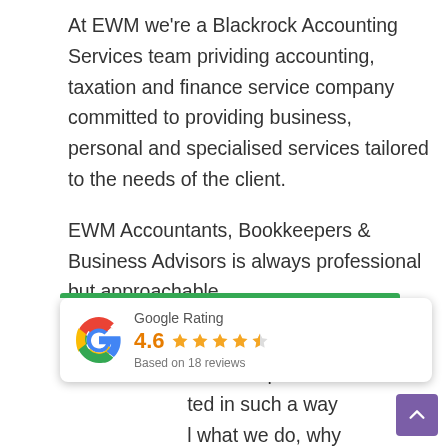At EWM we're a Blackrock Accounting Services team prividing accounting, taxation and finance service company committed to providing business, personal and specialised services tailored to the needs of the client.
EWM Accountants, Bookkeepers & Business Advisors is always professional but approachable.
We understand that our clients are not [experts in the services] we provide and the [information is presented] in such a way [that they understand] what we do, why we do it and how it benefits them.
[Figure (other): Google Rating widget showing 4.6 stars based on 18 reviews, with Google G logo and a green top bar]